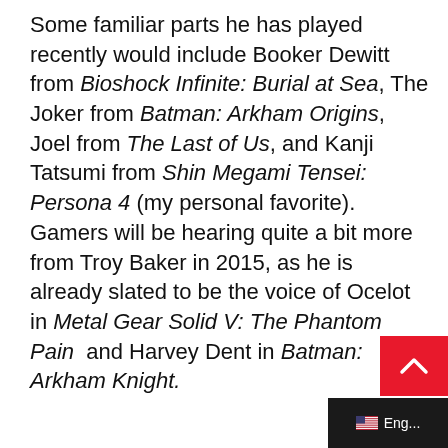Some familiar parts he has played recently would include Booker Dewitt from Bioshock Infinite: Burial at Sea, The Joker from Batman: Arkham Origins, Joel from The Last of Us, and Kanji Tatsumi from Shin Megami Tensei: Persona 4 (my personal favorite). Gamers will be hearing quite a bit more from Troy Baker in 2015, as he is already slated to be the voice of Ocelot in Metal Gear Solid V: The Phantom Pain and Harvey Dent in Batman: Arkham Knight.